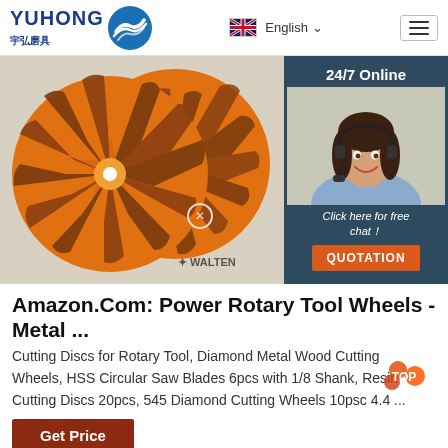YUHONG 宇弘磨具 | English | Menu
[Figure (photo): Two orange flap disc abrasive grinding wheels (Walter brand) side by side on a white/grey background, showing sanding flaps and orange fiberglass backing.]
[Figure (photo): Customer service representative with headset smiling, shown in a dark teal panel overlay on the right side of the main image. Panel includes '24/7 Online' text, 'Click here for free chat!' italic text, and an orange QUOTATION button.]
Amazon.Com: Power Rotary Tool Wheels - Metal ...
Cutting Discs for Rotary Tool, Diamond Metal Wood Cutting Wheels, HSS Circular Saw Blades 6pcs with 1/8 Shank, Resin Cutting Discs 20pcs, 545 Diamond Cutting Wheels 10psc 4.4 ...
Get Price